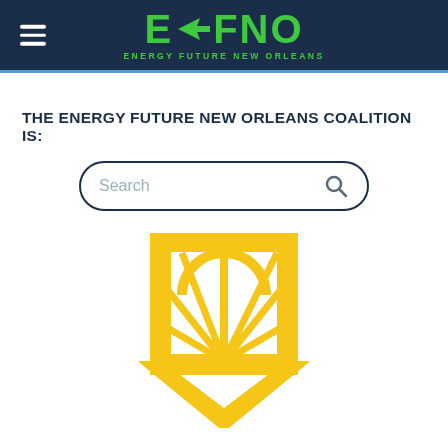EFNO - ENERGY FUTURE NEW ORLEANS
THE ENERGY FUTURE NEW ORLEANS COALITION IS:
[Figure (screenshot): Search input box with rounded corners and a search icon on the right]
[Figure (logo): Yellow geometric emblem/shield logo with sunburst rays pattern inside a rectangular frame with pointed bottom]